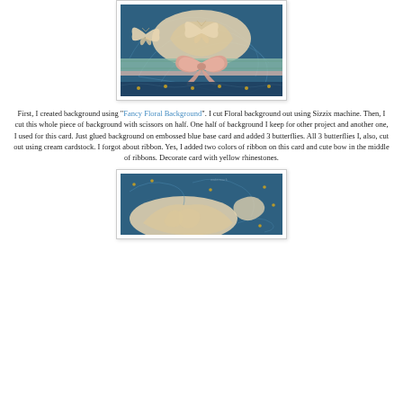[Figure (photo): Close-up photo of a handmade craft card featuring a blue embossed floral background with cream butterfly die cuts and a pink/peach satin ribbon bow in the center, decorated with yellow rhinestones.]
First, I created background using "Fancy Floral Background". I cut Floral background out using Sizzix machine. Then, I cut this whole piece of background with scissors on half. One half of background I keep for other project and another one, I used for this card. Just glued background on embossed blue base card and added 3 butterflies. All 3 butterflies I, also, cut out using cream cardstock. I forgot about ribbon. Yes, I added two colors of ribbon on this card and cute bow in the middle of ribbons. Decorate card with yellow rhinestones.
[Figure (photo): Close-up photo of the bottom portion of the same handmade craft card, showing the blue embossed background with cream floral/scroll die cuts and yellow rhinestone embellishments.]